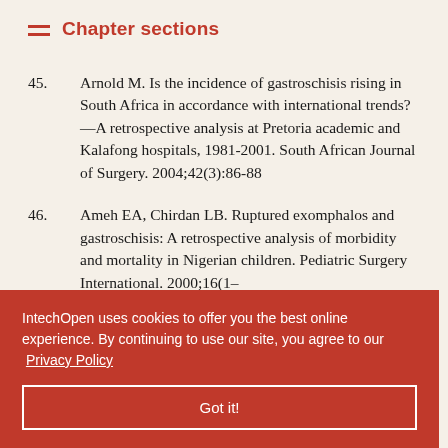Chapter sections
45. Arnold M. Is the incidence of gastroschisis rising in South Africa in accordance with international trends?—A retrospective analysis at Pretoria academic and Kalafong hospitals, 1981-2001. South African Journal of Surgery. 2004;42(3):86-88
46. Ameh EA, Chirdan LB. Ruptured exomphalos and gastroschisis: A retrospective analysis of morbidity and mortality in Nigerian children. Pediatric Surgery International. 2000;16(1–
IntechOpen uses cookies to offer you the best online experience. By continuing to use our site, you agree to our Privacy Policy
Got it!